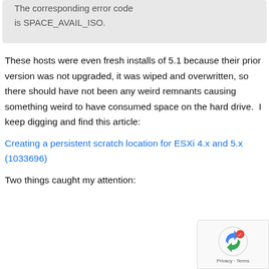The corresponding error code is SPACE_AVAIL_ISO.
These hosts were even fresh installs of 5.1 because their prior version was not upgraded, it was wiped and overwritten, so there should have not been any weird remnants causing something weird to have consumed space on the hard drive.  I keep digging and find this article:
Creating a persistent scratch location for ESXi 4.x and 5.x (1033696)
Two things caught my attention: